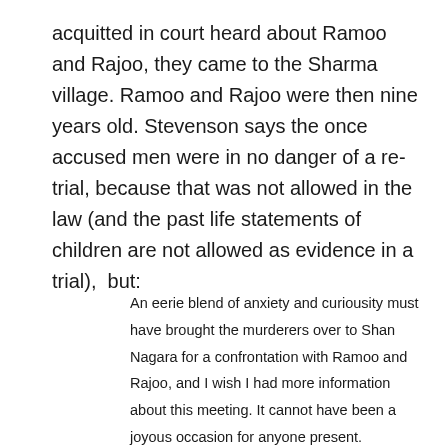acquitted in court heard about Ramoo and Rajoo, they came to the Sharma village. Ramoo and Rajoo were then nine years old. Stevenson says the once accused men were in no danger of a re-trial, because that was not allowed in the law (and the past life statements of children are not allowed as evidence in a trial),  but:
An eerie blend of anxiety and curiousity must have brought the murderers over to Shan Nagara for a confrontation with Ramoo and Rajoo, and I wish I had more information about this meeting. It cannot have been a joyous occasion for anyone present.